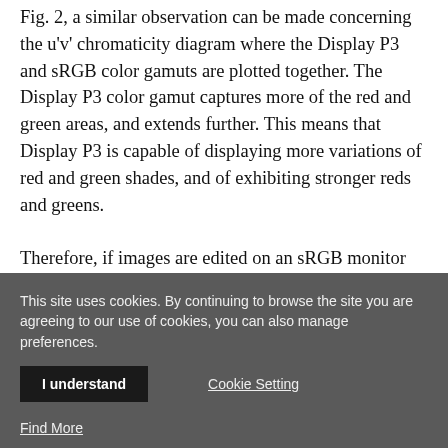Fig. 2, a similar observation can be made concerning the u'v' chromaticity diagram where the Display P3 and sRGB color gamuts are plotted together. The Display P3 color gamut captures more of the red and green areas, and extends further. This means that Display P3 is capable of displaying more variations of red and green shades, and of exhibiting stronger reds and greens.
Therefore, if images are edited on an sRGB monitor
This site uses cookies. By continuing to browse the site you are agreeing to our use of cookies, you can also manage preferences.
I understand
Cookie Setting
Find More